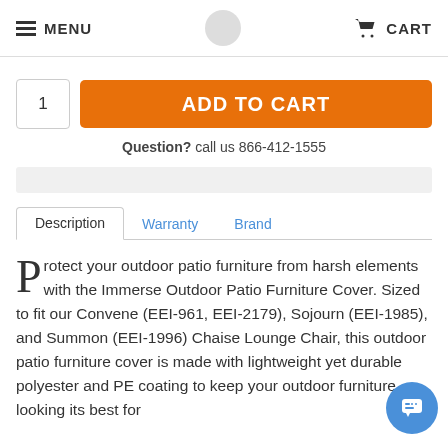MENU   CART
ADD TO CART
Question? call us 866-412-1555
Description   Warranty   Brand
Protect your outdoor patio furniture from harsh elements with the Immerse Outdoor Patio Furniture Cover. Sized to fit our Convene (EEI-961, EEI-2179), Sojourn (EEI-1985), and Summon (EEI-1996) Chaise Lounge Chair, this outdoor patio furniture cover is made with lightweight yet durable polyester and PE coating to keep your outdoor furniture looking its best for